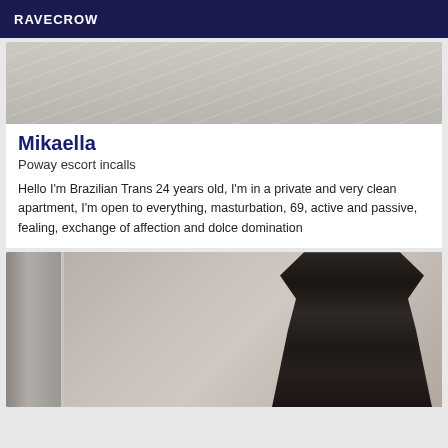RAVECROW
[Figure (photo): Top portion of a photo showing white/cream bedding or fabric]
Mikaella
Poway escort incalls
Hello I'm Brazilian Trans 24 years old, I'm in a private and very clean apartment, I'm open to everything, masturbation, 69, active and passive, fealing, exchange of affection and dolce domination
[Figure (photo): Woman with long dark hair taking a mirror selfie with a phone, standing in front of an ornate mirror frame, wearing dark clothing]